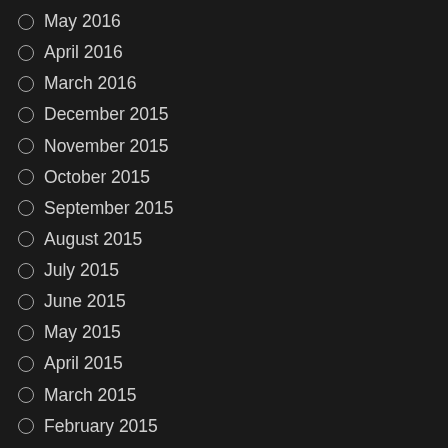May 2016
April 2016
March 2016
December 2015
November 2015
October 2015
September 2015
August 2015
July 2015
June 2015
May 2015
April 2015
March 2015
February 2015
January 2015
December 2014
November 2014